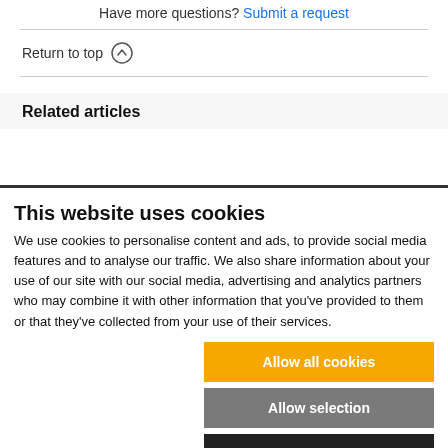Have more questions? Submit a request
Return to top ↑
Related articles
This website uses cookies
We use cookies to personalise content and ads, to provide social media features and to analyse our traffic. We also share information about your use of our site with our social media, advertising and analytics partners who may combine it with other information that you've provided to them or that they've collected from your use of their services.
Allow all cookies
Allow selection
Use necessary cookies only
Necessary  Preferences  Statistics  Marketing  Show details